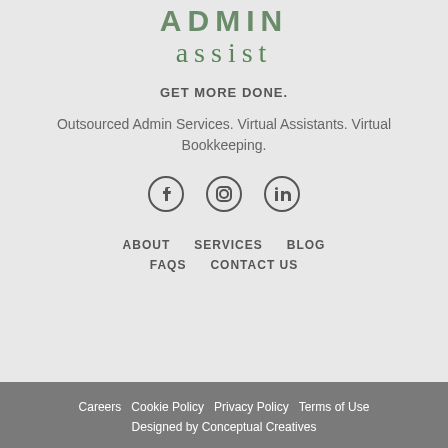[Figure (logo): Admin Assist company logo — stylized green uppercase ADMIN text above lowercase 'assist' in green serif font]
GET MORE DONE.
Outsourced Admin Services. Virtual Assistants. Virtual Bookkeeping.
[Figure (illustration): Social media icons: Facebook, Instagram, LinkedIn]
ABOUT   SERVICES   BLOG
FAQS   CONTACT US
Careers   Cookie Policy   Privacy Policy   Terms of Use   Designed by Conceptual Creatives